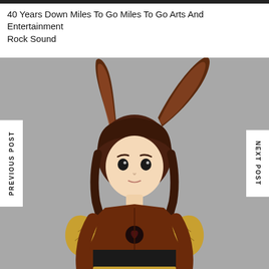40 Years Down Miles To Go Miles To Go Arts And Entertainment Rock Sound
[Figure (illustration): Anime-style illustration of a female character with large brown rabbit ears, brown hair with bangs, wearing a brown form-fitting outfit with gold wing-like shoulder armor pieces, a black heart emblem on the chest, and a black/gold belt. Background is grey. Navigation arrows for PREVIOUS POST and NEXT POST appear on the left and right sides.]